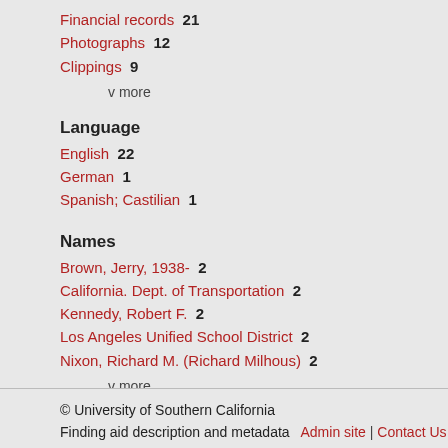Financial records  21
Photographs  12
Clippings  9
v more
Language
English  22
German  1
Spanish; Castilian  1
Names
Brown, Jerry, 1938-  2
California. Dept. of Transportation  2
Kennedy, Robert F.  2
Los Angeles Unified School District  2
Nixon, Richard M. (Richard Milhous)  2
v more
© University of Southern California  Finding aid description and metadata  Admin site | Contact Us